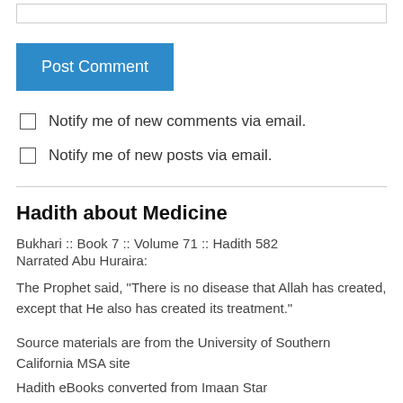[Figure (other): Text input box at top of page]
Post Comment
Notify me of new comments via email.
Notify me of new posts via email.
Hadith about Medicine
Bukhari :: Book 7 :: Volume 71 :: Hadith 582
Narrated Abu Huraira:
The Prophet said, "There is no disease that Allah has created, except that He also has created its treatment."
Source materials are from the University of Southern California MSA site
Hadith eBooks converted from Imaan Star